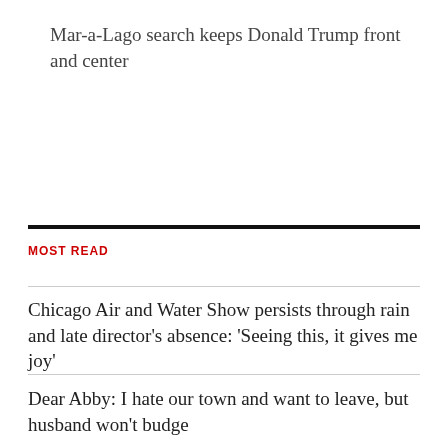Mar-a-Lago search keeps Donald Trump front and center
MOST READ
Chicago Air and Water Show persists through rain and late director's absence: 'Seeing this, it gives me joy'
Dear Abby: I hate our town and want to leave, but husband won't budge